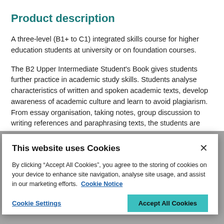Product description
A three-level (B1+ to C1) integrated skills course for higher education students at university or on foundation courses.
The B2 Upper Intermediate Student's Book gives students further practice in academic study skills. Students analyse characteristics of written and spoken academic texts, develop awareness of academic culture and learn to avoid plagiarism. From essay organisation, taking notes, group discussion to writing references and paraphrasing texts, the students are
This website uses Cookies
By clicking “Accept All Cookies”, you agree to the storing of cookies on your device to enhance site navigation, analyse site usage, and assist in our marketing efforts.  Cookie Notice
Cookie Settings
Accept All Cookies